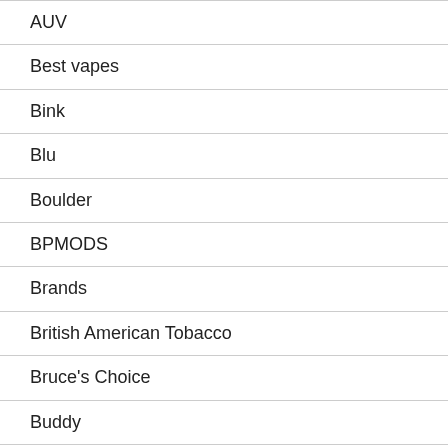AUV
Best vapes
Bink
Blu
Boulder
BPMODS
Brands
British American Tobacco
Bruce's Choice
Buddy
Buyer needs